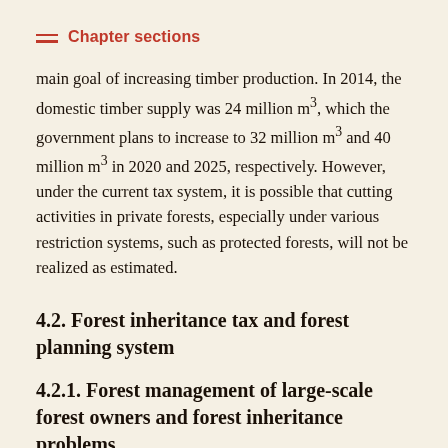Chapter sections
main goal of increasing timber production. In 2014, the domestic timber supply was 24 million m³, which the government plans to increase to 32 million m³ and 40 million m³ in 2020 and 2025, respectively. However, under the current tax system, it is possible that cutting activities in private forests, especially under various restriction systems, such as protected forests, will not be realized as estimated.
4.2. Forest inheritance tax and forest planning system
4.2.1. Forest management of large-scale forest owners and forest inheritance problems